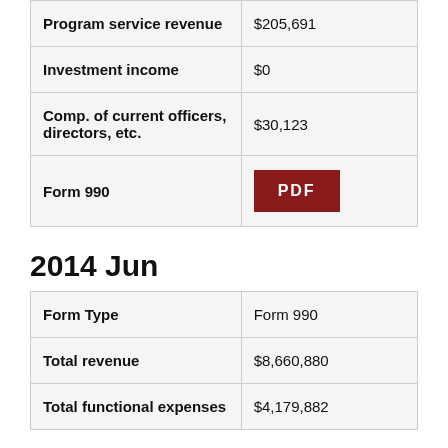|  |  |
| --- | --- |
| Program service revenue | $205,691 |
| Investment income | $0 |
| Comp. of current officers, directors, etc. | $30,123 |
| Form 990 | PDF |
2014 Jun
|  |  |
| --- | --- |
| Form Type | Form 990 |
| Total revenue | $8,660,880 |
| Total functional expenses | $4,179,882 |